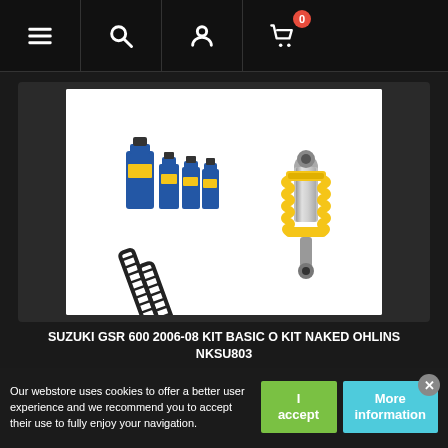Navigation bar with menu, search, account, and cart icons
[Figure (photo): Product photo showing Ohlins suspension kit for Suzuki GSR 600 2006-08: includes a yellow coil-over shock absorber, two black fork springs, and multiple bottles of fork oil]
SUZUKI GSR 600 2006-08 KIT BASIC O KIT NAKED OHLINS NKSU803
Our webstore uses cookies to offer a better user experience and we recommend you to accept their use to fully enjoy your navigation.
I accept
More information